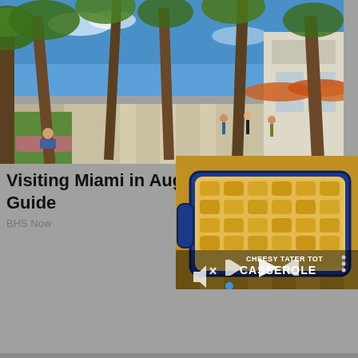[Figure (photo): Miami outdoor promenade with tall palm trees, people walking, shops with orange umbrellas on the right, bright blue sky]
Visiting Miami in Aug... Guide
BHS Now
[Figure (screenshot): Video thumbnail showing a blue baking dish with Cheesy Tater Tot Casserole — tater tots covered in shredded cheese. Video player controls visible: play button, skip forward, rewind, mute icon, progress dot. Text overlay reads CHEESY TATER TOT CASSEROLE]